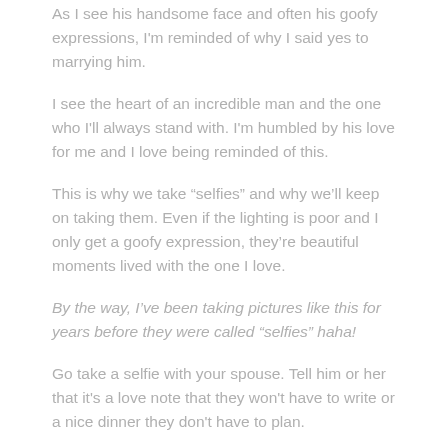As I see his handsome face and often his goofy expressions, I'm reminded of why I said yes to marrying him.
I see the heart of an incredible man and the one who I'll always stand with. I'm humbled by his love for me and I love being reminded of this.
This is why we take “selfies” and why we’ll keep on taking them. Even if the lighting is poor and I only get a goofy expression, they’re beautiful moments lived with the one I love.
By the way, I’ve been taking pictures like this for years before they were called “selfies” haha!
Go take a selfie with your spouse. Tell him or her that it’s a love note that they won’t have to write or a nice dinner they don’t have to plan.